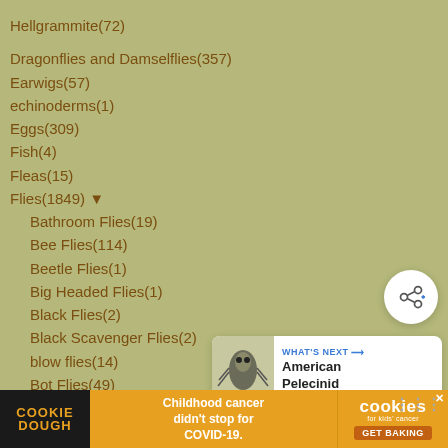Hellgrammite(72)
Dragonflies and Damselflies(357)
Earwigs(57)
echinoderms(1)
Eggs(309)
Fish(4)
Fleas(15)
Flies(1849) ▼
Bathroom Flies(19)
Bee Flies(114)
Beetle Flies(1)
Big Headed Flies(1)
Black Flies(2)
Black Scavenger Flies(2)
blow flies(14)
Bot Flies(49)
Cactus Flies(7)
Crane Fly(172)
Dance Flies(3)
[Figure (other): Share button icon — circular white button with share/network symbol]
[Figure (other): What's Next card — thumbnail of American Pelecinid insect with text label]
[Figure (other): Cookie Dough advertisement banner at bottom of page]